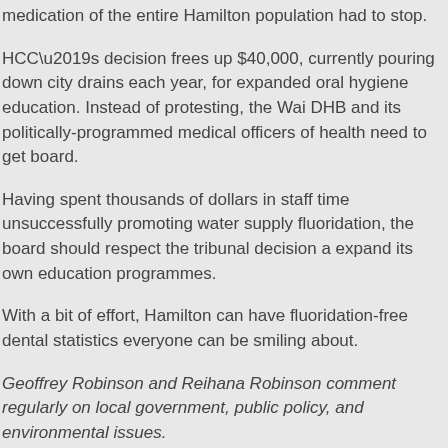medication of the entire Hamilton population had to stop.
HCC’s decision frees up $40,000, currently pouring down city drains each year, for expanded oral hygiene education. Instead of protesting, the Wai DHB and its politically-programmed medical officers of health need to get board.
Having spent thousands of dollars in staff time unsuccessfully promoting water supply fluoridation, the board should respect the tribunal decision and expand its own education programmes.
With a bit of effort, Hamilton can have fluoridation-free dental statistics everyone can be smiling about.
Geoffrey Robinson and Reihana Robinson comment regularly on local government, public policy, and environmental issues.
Tags: flouridation, flouride, Fluoridation, fluoride